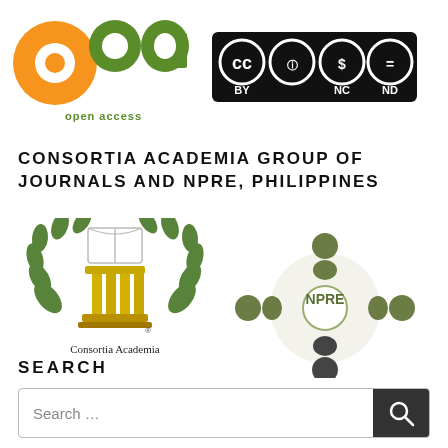[Figure (logo): Open Access logo (orange OA symbol with green dots) and Creative Commons BY-NC-ND license icons]
CONSORTIA ACADEMIA GROUP OF JOURNALS AND NPRE, PHILIPPINES
[Figure (logo): Consortia Academia logo (book with laurel wreath on pillar, text 'Consortia Academia') and NPRE logo (people circle network icon)]
SEARCH
[Figure (other): Search bar with placeholder text 'Search ...' and a dark search button with magnifying glass icon]